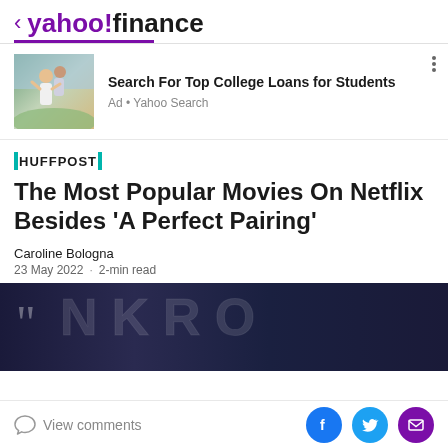< yahoo!finance
[Figure (photo): Advertisement image showing two young women laughing outdoors in a field]
Search For Top College Loans for Students
Ad • Yahoo Search
[Figure (logo): HuffPost logo with teal vertical bars on each side]
The Most Popular Movies On Netflix Besides 'A Perfect Pairing'
Caroline Bologna
23 May 2022 · 2-min read
[Figure (photo): Dark hero image with partial text visible and a quotation mark watermark]
View comments
[Figure (other): Social sharing icons: Facebook (blue circle), Twitter (cyan circle), Email/envelope (purple circle)]